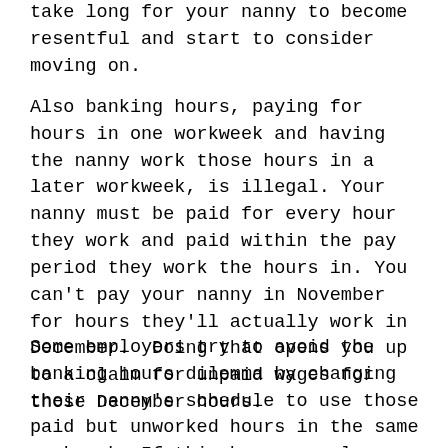take long for your nanny to become resentful and start to consider moving on.
Also banking hours, paying for hours in one workweek and having the nanny work those hours in a later workweek, is illegal. Your nanny must be paid for every hour they work and paid within the pay period they work the hours in. You can't pay your nanny in November for hours they'll actually work in December.  Doing that opens you up to a claim for unpaid wages for those December hours.
Some employers try to avoid the banking hours dilemma by changing their nanny's schedule to use those paid but unworked hours in the same workweek. If this happens only occasionally, the